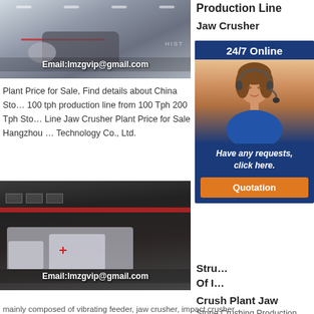[Figure (photo): Industrial crushing plant interior with large machinery, ceiling lights]
Email:lmzgvip@gmail.com
Production Line
Jaw Crusher
Plant Price for Sale, Find details about China Sto… 100 tph production line from 100 Tph 200 Tph Sto… Line Jaw Crusher Plant Price for Sale Hangzhou … Technology Co., Ltd.
[Figure (infographic): 24/7 Online chat widget with customer service representative photo, 'Have any requests, click here.' and Quotation button]
Stru… Of I…
Crush Plant Jaw
Stone Crushing Production Line learn more. Sand and stone production line is
[Figure (photo): Exterior of industrial building with mobile crusher machinery, red stripes on dark facade]
Email:lmzgvip@gmail.com
mainly composed of vibrating feeder, jaw crusher, impact crusher…